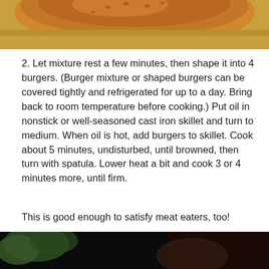[Figure (photo): Close-up photo of a burger bun, golden-brown, on a warm background]
2. Let mixture rest a few minutes, then shape it into 4 burgers. (Burger mixture or shaped burgers can be covered tightly and refrigerated for up to a day. Bring back to room temperature before cooking.) Put oil in nonstick or well-seasoned cast iron skillet and turn to medium. When oil is hot, add burgers to skillet. Cook about 5 minutes, undisturbed, until browned, then turn with spatula. Lower heat a bit and cook 3 or 4 minutes more, until firm.
This is good enough to satisfy meat eaters, too!
Now, if you want to venture overseas, this is one of my favorites.
[Figure (photo): Dark photo showing a hand or food item, partially visible at the bottom of the page]